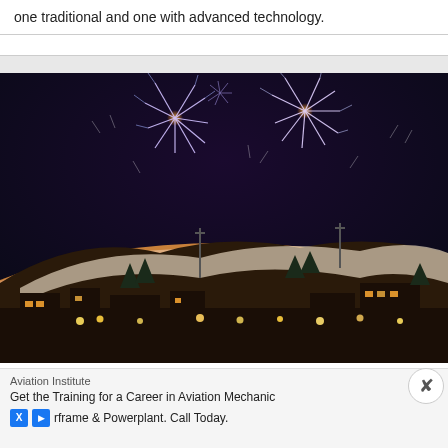one traditional and one with advanced technology.
[Figure (photo): Night-time fireworks display over a snowy ski resort village, with colorful fireworks bursting in the sky over a snow-covered hill with ski lifts and illuminated buildings below.]
Snow Dresses up to the Occasion
Aviation Institute
Get the Training for a Career in Aviation Mechanic
Airframe & Powerplant. Call Today.